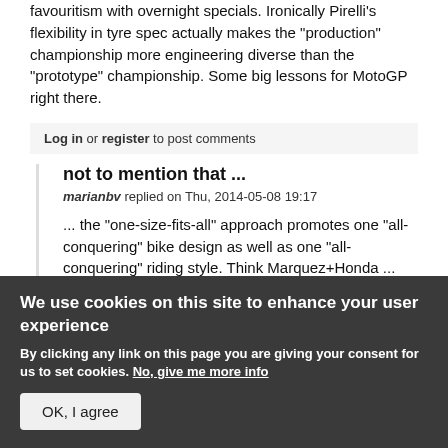favouritism with overnight specials. Ironically Pirelli's flexibility in tyre spec actually makes the "production" championship more engineering diverse than the "prototype" championship. Some big lessons for MotoGP right there.
Log in or register to post comments
not to mention that ...
marianbv replied on Thu, 2014-05-08 19:17
... the "one-size-fits-all" approach promotes one "all-conquering" bike design as well as one "all-conquering" riding style. Think Marquez+Honda ...
We use cookies on this site to enhance your user experience
By clicking any link on this page you are giving your consent for us to set cookies. No, give me more info
OK, I agree